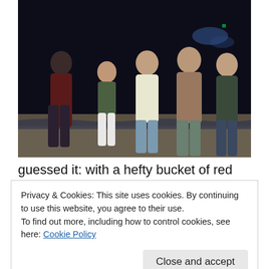[Figure (photo): Group photo of five young people (four men and one woman) posing together on a beach at night. They are smiling and standing close together. Background shows dark sky with some blue/purple lights.]
guessed it: with a hefty bucket of red bull and vodka accompanied by a generous dollop of Top
Privacy & Cookies: This site uses cookies. By continuing to use this website, you agree to their use.
To find out more, including how to control cookies, see here: Cookie Policy
Close and accept
Wayne before ravenously consuming a plate of